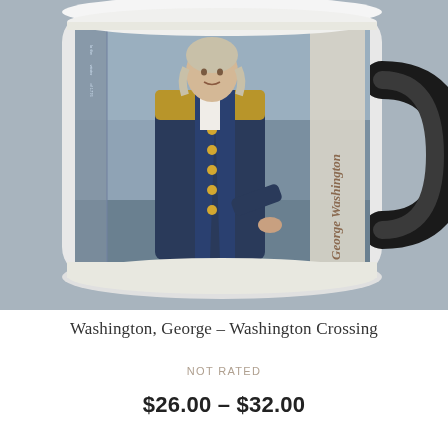[Figure (photo): A white ceramic coffee mug featuring a portrait of George Washington in military uniform (blue and gold), with the text 'George Washington' printed vertically on the mug. The mug has a black handle and is photographed against a blue-gray background.]
Washington, George – Washington Crossing
NOT RATED
$26.00 – $32.00